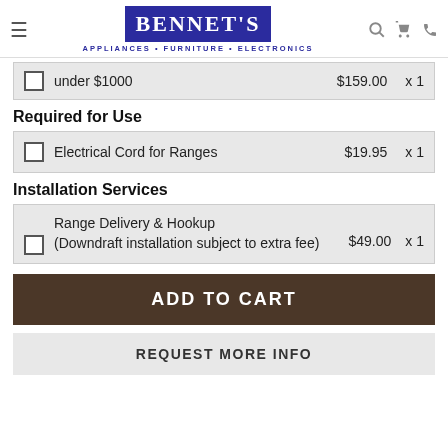BENNET'S APPLIANCES · FURNITURE · ELECTRONICS
under $1000  $159.00  x 1
Required for Use
Electrical Cord for Ranges  $19.95  x 1
Installation Services
Range Delivery & Hookup (Downdraft installation subject to extra fee)  $49.00  x 1
ADD TO CART
REQUEST MORE INFO